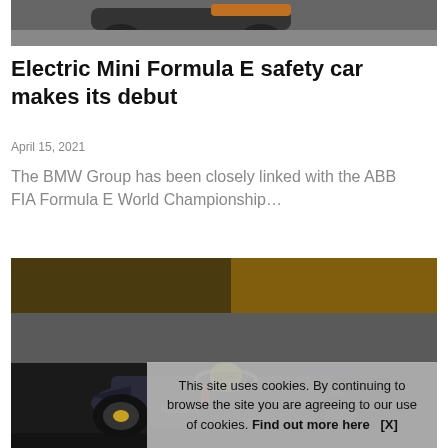[Figure (photo): Top portion of a racing car on a track, partially visible at top of page]
Electric Mini Formula E safety car makes its debut
April 15, 2021
The BMW Group has been closely linked with the ABB FIA Formula E World Championship…
[Figure (photo): A Formula E racing car on track, driver visible with helmet, low angle shot with warm evening light]
This site uses cookies. By continuing to browse the site you are agreeing to our use of cookies. Find out more here    [X]